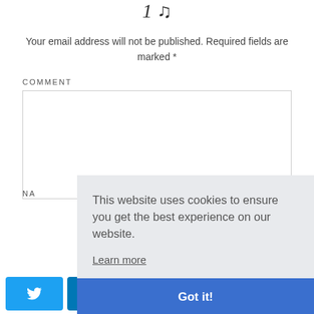1 ♪
Your email address will not be published. Required fields are marked *
COMMENT
This website uses cookies to ensure you get the best experience on our website. Learn more Got it!
NA
0 SHARES